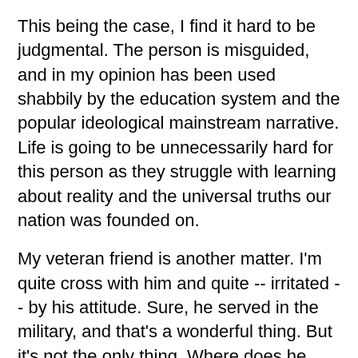This being the case, I find it hard to be judgmental. The person is misguided, and in my opinion has been used shabbily by the education system and the popular ideological mainstream narrative. Life is going to be unnecessarily hard for this person as they struggle with learning about reality and the universal truths our nation was founded on.
My veteran friend is another matter. I'm quite cross with him and quite -- irritated -- by his attitude. Sure, he served in the military, and that's a wonderful thing. But it's not the only thing. Where does he think his pay, clothing, food, equipment, and everything else he touched or used in the Army came from? And does he think that having served two years in the military that he's done with serving his country, done with working hard to be an American?
This nation is not the united states of the military. It is the United States of America. We are all sovereign citizens. None of us are better or worse than our fellows. We all play vital and important roles. The neurosurgeon is every bit as